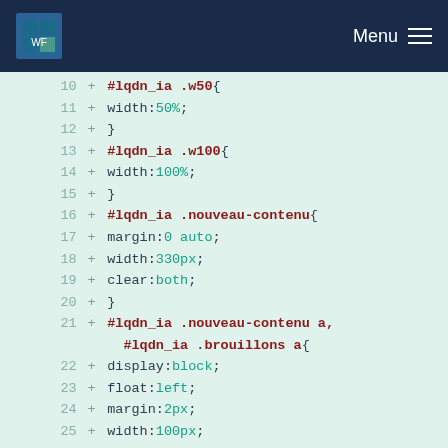Menu
10  + #lqdn_ia .w50{
11  + width:50%;
12  + }
13  + #lqdn_ia .w100{
14  + width:100%;
15  + }
16  + #lqdn_ia .nouveau-contenu{
17  + margin:0 auto;
18  + width:330px;
19  + clear:both;
20  + }
21  + #lqdn_ia .nouveau-contenu a,
    #lqdn_ia .brouillons a{
22  + display:block;
23  + float:left;
24  + margin:2px;
25  + width:100px;
26  + border:1px solid #487ED6;
27  + text-align:center;
28  + padding:15px 2px;